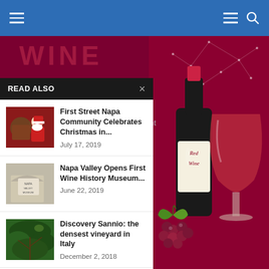Navigation bar with hamburger menu and search icon
[Figure (screenshot): Partial WINE text banner on dark red/maroon background at top of page]
READ ALSO
[Figure (photo): Santa Claus thumbnail image]
First Street Napa Community Celebrates Christmas in...
July 17, 2019
[Figure (photo): Napa Valley sign / museum building thumbnail]
Napa Valley Opens First Wine History Museum...
June 22, 2019
[Figure (photo): Vineyard / dense grapevine foliage thumbnail]
Discovery Sannio: the densest vineyard in Italy
December 2, 2018
[Figure (illustration): Red wine bottle with label reading 'Red Wine', wine glass, grapes on dark red background with geometric constellation pattern]